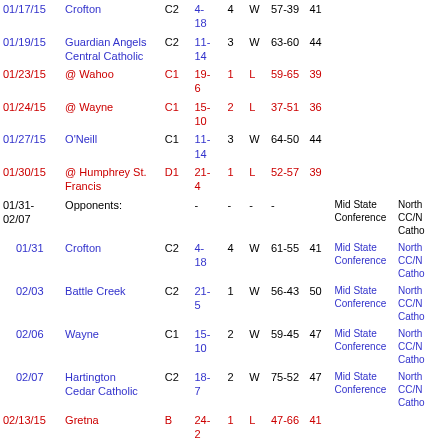| Date | Opponent | Class | Record | Rank | W/L | Score | Pts | Tournament1 | Tournament2 |
| --- | --- | --- | --- | --- | --- | --- | --- | --- | --- |
| 01/17/15 | Crofton | C2 | 4-18 | 4 | W | 57-39 | 41 |  |  |
| 01/19/15 | Guardian Angels Central Catholic | C2 | 11-14 | 3 | W | 63-60 | 44 |  |  |
| 01/23/15 | @ Wahoo | C1 | 19-6 | 1 | L | 59-65 | 39 |  |  |
| 01/24/15 | @ Wayne | C1 | 15-10 | 2 | L | 37-51 | 36 |  |  |
| 01/27/15 | O'Neill | C1 | 11-14 | 3 | W | 64-50 | 44 |  |  |
| 01/30/15 | @ Humphrey St. Francis | D1 | 21-4 | 1 | L | 52-57 | 39 |  |  |
| 01/31-02/07 | Opponents: |  | - | - | - | - |  | Mid State Conference | North CC/N Cath |
| 01/31 | Crofton | C2 | 4-18 | 4 | W | 61-55 | 41 | Mid State Conference | North CC/N Cath |
| 02/03 | Battle Creek | C2 | 21-5 | 1 | W | 56-43 | 50 | Mid State Conference | North CC/N Cath |
| 02/06 | Wayne | C1 | 15-10 | 2 | W | 59-45 | 47 | Mid State Conference | North CC/N Cath |
| 02/07 | Hartington Cedar Catholic | C2 | 18-7 | 2 | W | 75-52 | 47 | Mid State Conference | North CC/N Cath |
| 02/13/15 | Gretna | B | 24-2 | 1 | L | 47-66 | 41 |  |  |
|  | @ Omaha Skutt |  | 16- |  |  |  |  |  |  |